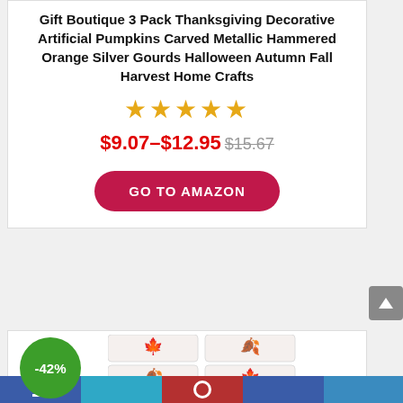Gift Boutique 3 Pack Thanksgiving Decorative Artificial Pumpkins Carved Metallic Hammered Orange Silver Gourds Halloween Autumn Fall Harvest Home Crafts
[Figure (other): Five gold/orange star rating icons]
$9.07–$12.95 $15.67
[Figure (other): GO TO AMAZON red pill-shaped button]
[Figure (other): -42% green circle discount badge and four autumn leaf pillow product images]
Navigation bar with social/share icons